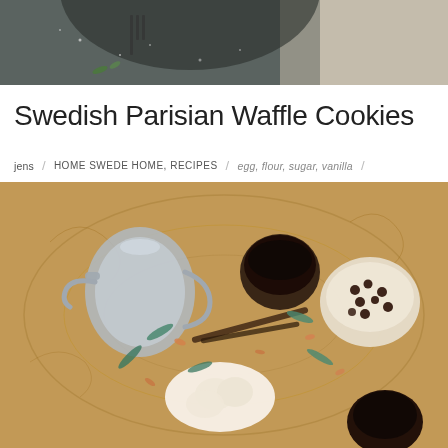[Figure (photo): Top portion of a waffle iron dusted with powdered sugar on a dark surface with a linen cloth]
Swedish Parisian Waffle Cookies
jens / HOME SWEDE HOME, RECIPES / egg, flour, sugar, vanilla /
[Figure (photo): Overhead shot of ingredients on a decorative golden tray: a silver teapot, a cup of dark liquid, a bowl of raisins, a plate of round cookies, vanilla pods, and scattered nuts and spices]